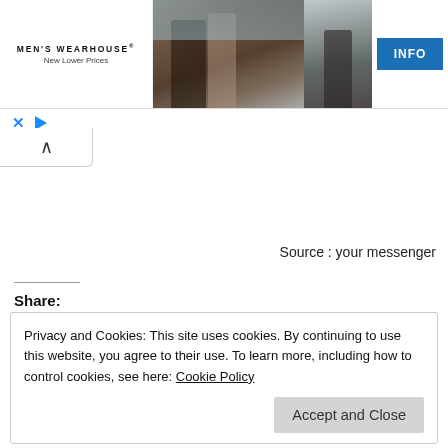[Figure (screenshot): Men's Wearhouse advertisement banner with logo, wedding couple photo, man in suit photo, and INFO button]
[Figure (screenshot): Ad controls: X close button and play button triangle icon]
[Figure (screenshot): Collapse/chevron-up button]
Source : your messenger
Share:
[Figure (infographic): Social sharing icons row: Facebook (blue), Twitter (light blue), LinkedIn (dark blue), Pinterest (red), WhatsApp (green), Email (gray), Print (gray)]
Privacy and Cookies: This site uses cookies. By continuing to use this website, you agree to their use. To learn more, including how to control cookies, see here: Cookie Policy
Accept and Close